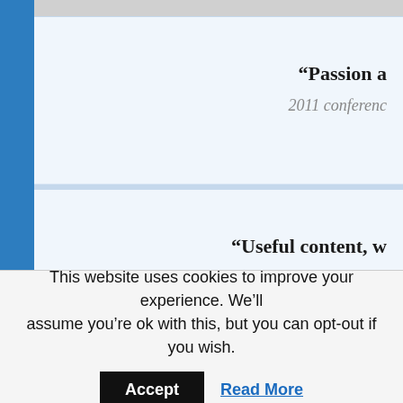“Passion a
2011 conferenc
“Useful content, w
2011 conferenc
“Learne
2011 conferenc
This website uses cookies to improve your experience. We’ll assume you’re ok with this, but you can opt-out if you wish.
Accept
Read More